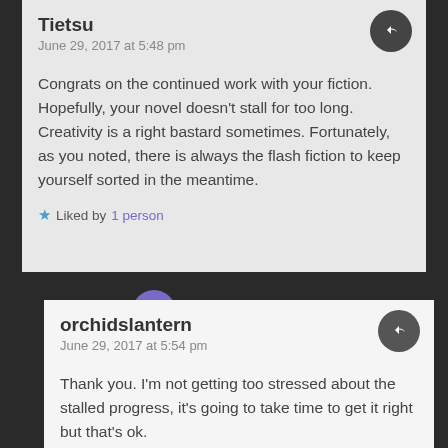Tietsu
June 29, 2017 at 5:48 pm
Congrats on the continued work with your fiction. Hopefully, your novel doesn't stall for too long. Creativity is a right bastard sometimes. Fortunately, as you noted, there is always the flash fiction to keep yourself sorted in the meantime.
Liked by 1 person
orchidslantern
June 29, 2017 at 5:54 pm
Thank you. I'm not getting too stressed about the stalled progress, it's going to take time to get it right but that's ok.
Like